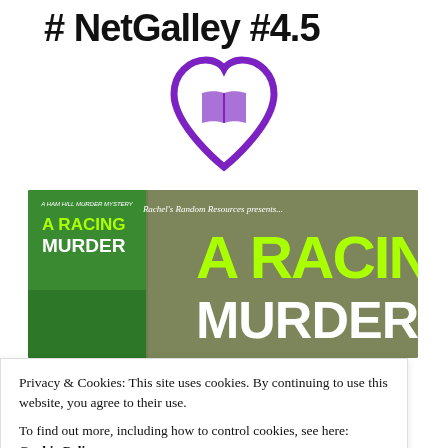# NetGalley #4.5
[Figure (illustration): Purple heart with open book icon inside, NetGalley style logo]
[Figure (illustration): Book promotion banner for 'A Racing Murder' by Rachel's Random Resources, showing book cover on left and large green/white text on background of stone building]
Privacy & Cookies: This site uses cookies. By continuing to use this website, you agree to their use. To find out more, including how to control cookies, see here: Cookie Policy
Close and accept